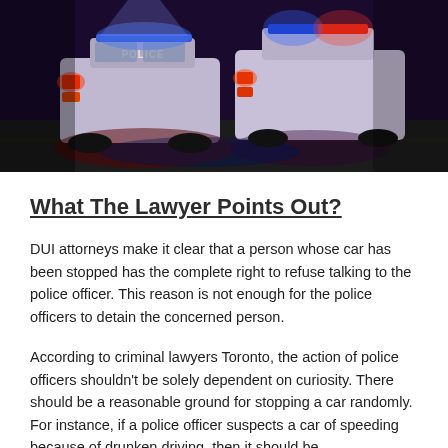[Figure (photo): Night-time photo of two police cars with emergency lights (blue and red) activated, rear view, on a dark road. The word POLICE is visible on one car.]
What The Lawyer Points Out?
DUI attorneys make it clear that a person whose car has been stopped has the complete right to refuse talking to the police officer. This reason is not enough for the police officers to detain the concerned person.
According to criminal lawyers Toronto, the action of police officers shouldn't be solely dependent on curiosity. There should be a reasonable ground for stopping a car randomly. For instance, if a police officer suspects a car of speeding because of drunken driving, then it should be